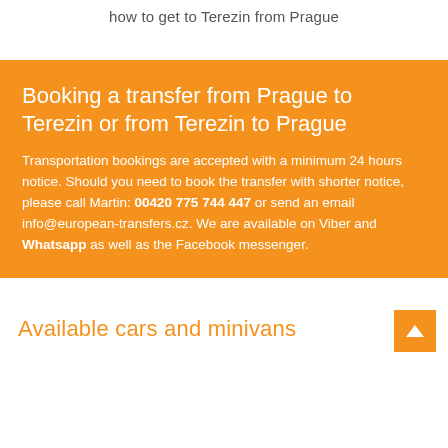how to get to Terezin from Prague
Booking a transfer from Prague to Terezin or from Terezin to Prague
Transportation bookings are accepted with a minimum 24 hours notice. Should you need to book the transfer with shorter notice, please call Martin: 00420 775 744 447 or send an email info@european-transfers.cz. We are available on Viber and Whatsapp as well as the Facebook messenger.
Available cars and minivans